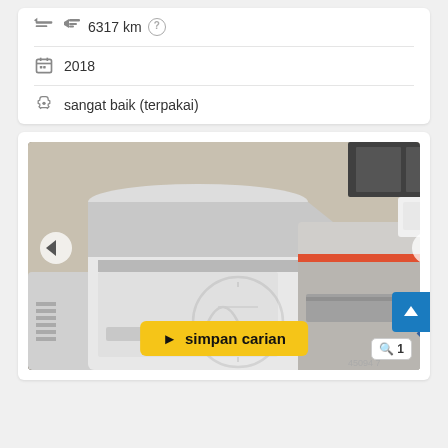6317 km
2018
sangat baik (terpakai)
[Figure (photo): Industrial machine (likely a printing or laboratory instrument) in white and gray casing with orange accent stripe, photographed in a workshop/lab setting. Navigation arrows on left and right sides. Watermark overlay in center. Yellow 'simpan carian' button at bottom center. Zoom button bottom right. Blue upload button at right edge.]